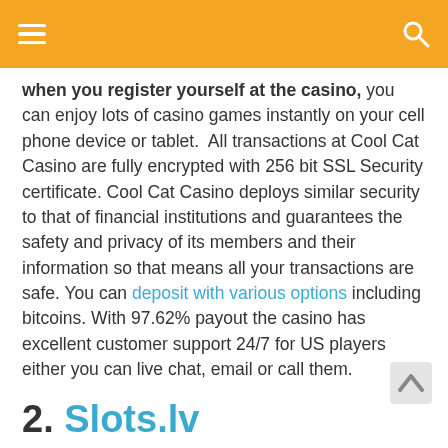Navigation header with hamburger menu and search icon
when you register yourself at the casino, you can enjoy lots of casino games instantly on your cell phone device or tablet.  All transactions at Cool Cat Casino are fully encrypted with 256 bit SSL Security certificate. Cool Cat Casino deploys similar security to that of financial institutions and guarantees the safety and privacy of its members and their information so that means all your transactions are safe. You can deposit with various options including bitcoins. With 97.62% payout the casino has excellent customer support 24/7 for US players either you can live chat, email or call them.
2. Slots.lv
[Figure (logo): Slots.lv logo in red italic text at bottom]